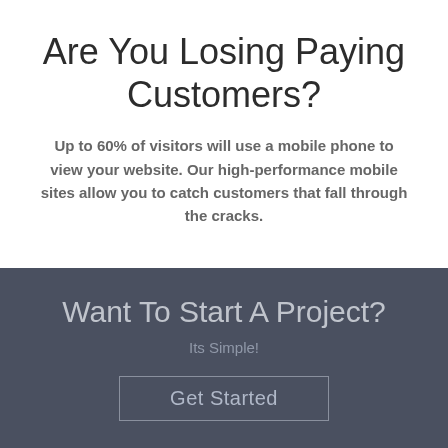Are You Losing Paying Customers?
Up to 60% of visitors will use a mobile phone to view your website. Our high-performance mobile sites allow you to catch customers that fall through the cracks.
Want To Start A Project?
Its Simple!
Get Started